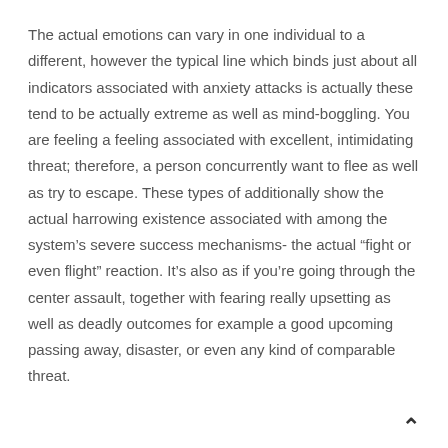The actual emotions can vary in one individual to a different, however the typical line which binds just about all indicators associated with anxiety attacks is actually these tend to be actually extreme as well as mind-boggling. You are feeling a feeling associated with excellent, intimidating threat; therefore, a person concurrently want to flee as well as try to escape. These types of additionally show the actual harrowing existence associated with among the system's severe success mechanisms- the actual “fight or even flight” reaction. It’s also as if you’re going through the center assault, together with fearing really upsetting as well as deadly outcomes for example a good upcoming passing away, disaster, or even any kind of comparable threat.